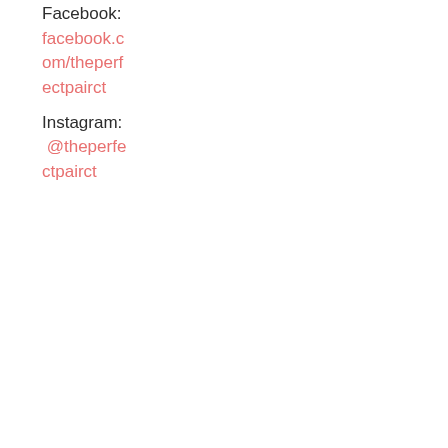Facebook:
facebook.com/theperfectpairct
Instagram:
@theperfectpairct